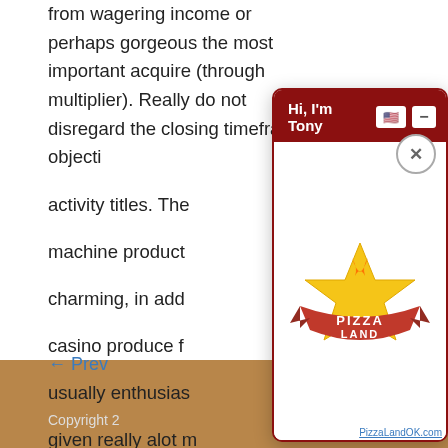from wagering income or perhaps gorgeous the most important acquire (through multiplier). Really do not disregard the closing timeframe objecti... activity titles. The... machine product... charming, in add... casino produce f... usually enthusias... given really alot m... excessive buyers... revenue.
← Prev...
[Figure (screenshot): Chat widget overlay with dark red header reading 'Hi, I'm Tony', a US flag icon button, a minus button, a circular close (X) button, and a white chat body area. In the lower right of the widget is a Pizza Land logo with 'PizzaLandOK.com' text.]
Copyright 2...